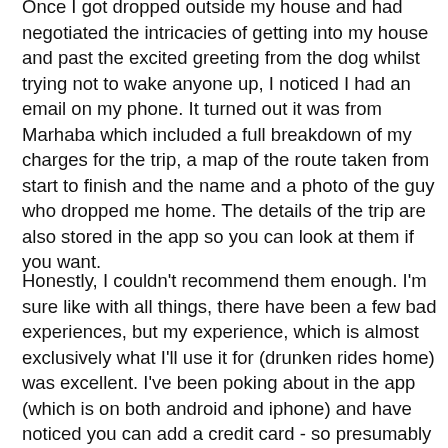Once I got dropped outside my house and had negotiated the intricacies of getting into my house and past the excited greeting from the dog whilst trying not to wake anyone up, I noticed I had an email on my phone. It turned out it was from Marhaba which included a full breakdown of my charges for the trip, a map of the route taken from start to finish and the name and a photo of the guy who dropped me home. The details of the trip are also stored in the app so you can look at them if you want.
Honestly, I couldn't recommend them enough. I'm sure like with all things, there have been a few bad experiences, but my experience, which is almost exclusively what I'll use it for (drunken rides home) was excellent. I've been poking about in the app (which is on both android and iphone) and have noticed you can add a credit card - so presumably you can even travel cashless too - which is handy to